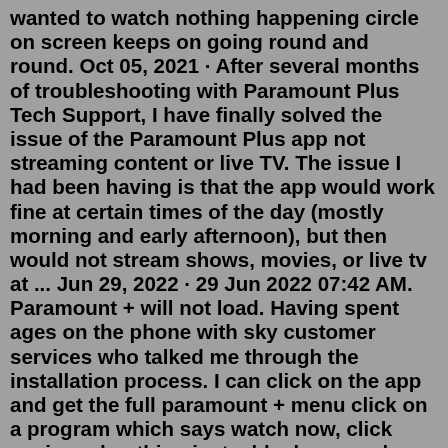wanted to watch nothing happening circle on screen keeps on going round and round. Oct 05, 2021 · After several months of troubleshooting with Paramount Plus Tech Support, I have finally solved the issue of the Paramount Plus app not streaming content or live TV. The issue I had been having is that the app would work fine at certain times of the day (mostly morning and early afternoon), but then would not stream shows, movies, or live tv at ... Jun 29, 2022 · 29 Jun 2022 07:42 AM. Paramount + will not load. Having spent ages on the phone with sky customer services who talked me through the installation process. I can click on the app and get the full paramount + menu click on a program which says watch now, click again and nothing just a blank screen how come Disney, Netflix and Amazon prime down ... Paramount Plus not working on Samsung TVQuick and Simple Solution that works 99% of the time. Dec 29, 2021 · If you are an xfinity customer, you may be wondering if you get paramount+ for free. $4.99 per month with commercials, and $9.99 per month for commercial